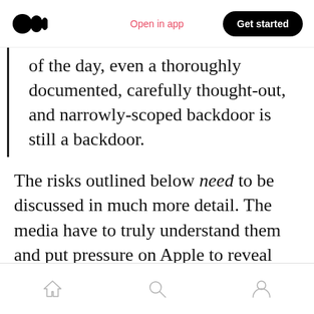Open in app | Get started
of the day, even a thoroughly documented, carefully thought-out, and narrowly-scoped backdoor is still a backdoor.
The risks outlined below need to be discussed in much more detail. The media have to truly understand them and put pressure on Apple to reveal more on intent, what success looks like and more on how these serious risks and harms will be avoided. Because if they can't do that, the road we're heading down is looking ever more dismal.
Home | Search | Profile